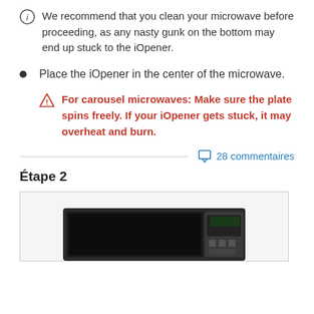We recommend that you clean your microwave before proceeding, as any nasty gunk on the bottom may end up stuck to the iOpener.
Place the iOpener in the center of the microwave.
For carousel microwaves: Make sure the plate spins freely. If your iOpener gets stuck, it may overheat and burn.
28 commentaires
Étape 2
[Figure (photo): Photo of a microwave oven, partially visible at the bottom of the page]